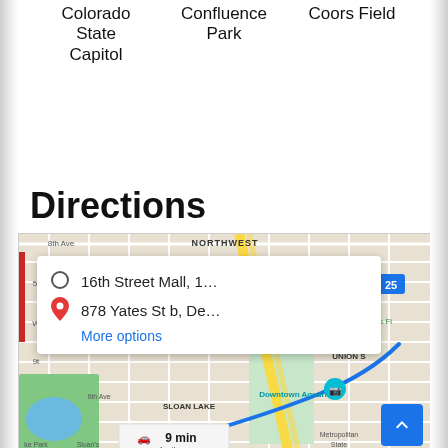Colorado State Capitol
Confluence Park
Coors Field
Directions
[Figure (map): Google Maps showing directions from 16th Street Mall to 878 Yates St b, Denver. Map shows NORTHWEST area, Highland, Coors Field, Downtown Aquarium, SLOAN LAKE, Metropolitan State University, UNION area. Directions popup shows origin: 16th Street Mall, 1... and destination: 878 Yates St b, De... with More options link. Drive time: 9 min, 4 miles.]